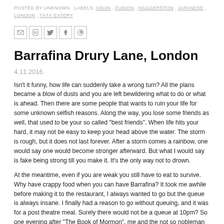POSTED BY UNKNOWN   LABELS: ASIAN , FUSION , HAGGERSTON , JAPANESE , LONDON , TĀTĀ EATERY
[Figure (other): Social sharing icons: Gmail, Blogger, Twitter, Facebook, Pinterest]
Barrafina Drury Lane, London
4.11.2016
Isn't it funny, how life can suddenly take a wrong turn? All the plans became a blow of dusts and you are left bewildering what to do or what is ahead. Then there are some people that wants to ruin your life for some unknown selfish reasons. Along the way, you lose some friends as well, that used to be your so called "best friends". When life hits your hard, it may not be easy to keep your head above the water. The storm is rough, but it does not last forever. After a storm comes a rainbow, one would say one would become stronger afterward. But what I would say is fake being strong till you make it. It's the only way not to drown.
At the meantime, even if you are weak you still have to eat to survive. Why have crappy food when you can have Barrafina? It took me awhile before making it to the restaurant, I always wanted to go but the queue is always insane. I finally had a reason to go without queuing, and it was for a post theatre meal. Surely there would not be a queue at 10pm? So one evening after "The Book of Mormon", me and the not so nobleman totted to Drury Lane which was the third branch of Barrafina (they've a Michelin starred one in Soho and another one in Adelaide Street in Covent Garden). Guess what, there was no queue.